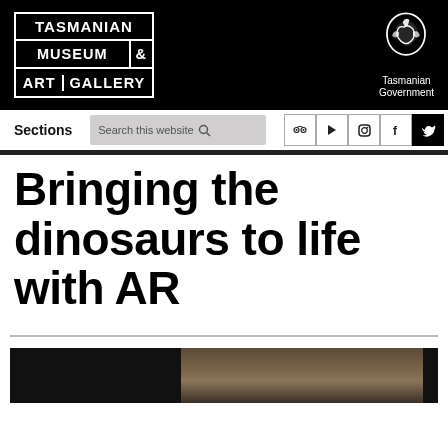[Figure (logo): Tasmanian Museum & Art Gallery logo (white text on black, grid layout) and Tasmanian Government logo (bird icon, white on black)]
Sections | Search this website | [social media icons]
Bringing the dinosaurs to life with AR
[Figure (photo): Partial view of a dinosaur fossil or exhibit in dark museum lighting, brownish fossil visible on right side]